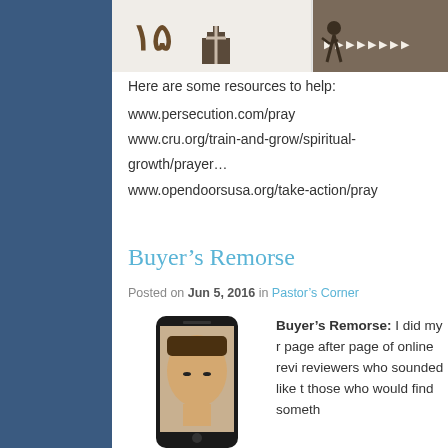[Figure (photo): Two religious/persecution themed images at the top of the content area]
Here are some resources to help:
www.persecution.com/pray
www.cru.org/train-and-grow/spiritual-growth/prayer
www.opendoorsusa.org/take-action/pray
Buyer’s Remorse
Posted on Jun 5, 2016 in Pastor’s Corner
[Figure (photo): A person holding a smartphone up to their face]
Buyer’s Remorse: I did my r page after page of online revi reviewers who sounded like t those who would find someth